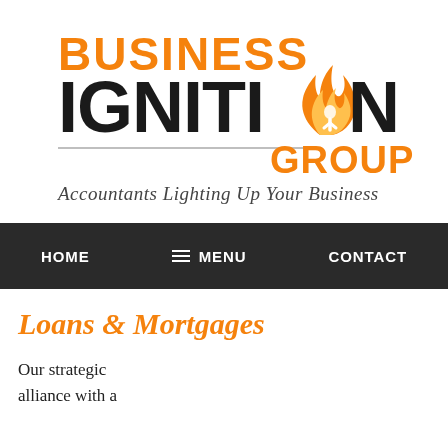[Figure (logo): Business Ignition Group logo with flame graphic. 'BUSINESS' in orange bold text, 'IGNITION' in large black bold text with an orange flame replacing the 'O', 'GROUP' in orange bold text. A horizontal line separates the main text from the tagline. Tagline: 'Accountants Lighting Up Your Business' in dark gray italic serif text.]
HOME   ≡ MENU   CONTACT
Loans & Mortgages
Our strategic alliance with a
[Figure (photo): Partial gray/light image visible at bottom right of page]